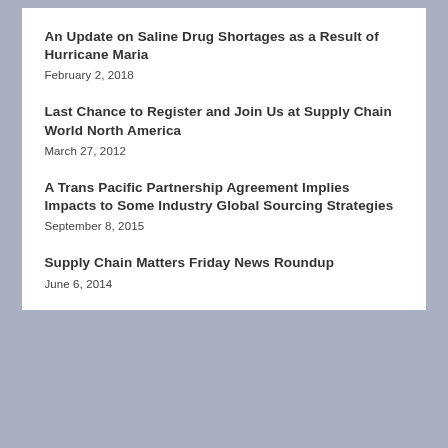An Update on Saline Drug Shortages as a Result of Hurricane Maria
February 2, 2018
Last Chance to Register and Join Us at Supply Chain World North America
March 27, 2012
A Trans Pacific Partnership Agreement Implies Impacts to Some Industry Global Sourcing Strategies
September 8, 2015
Supply Chain Matters Friday News Roundup
June 6, 2014